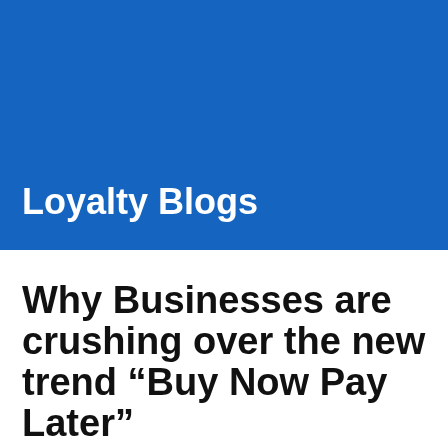novus Loyalty
Loyalty Blogs
Why Businesses are crushing over the new trend “Buy Now Pay Later”